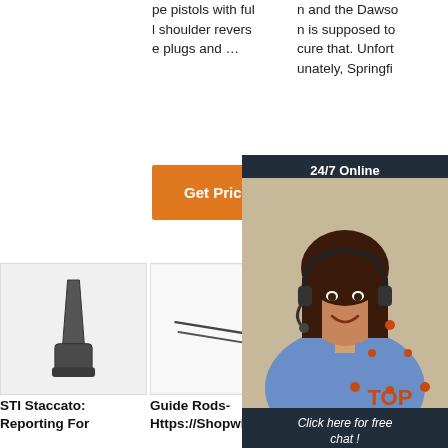pe pistols with full shoulder reverse plugs and …
n and the Dawson is supposed to cure that. Unfortunately, Springfi eld
Get Price
G
[Figure (photo): Chat widget overlay showing a woman with headset, '24/7 Online' header, 'Click here for free chat!' text, and QUOTATION button]
[Figure (photo): Product image: dark metal flat/blade-shaped tool (STI related)]
[Figure (photo): Product image: Guide rods, thin metal rods on white background]
[Figure (photo): Product image: dark cylindrical metal parts, Best Guide Rod product]
STI Staccato: Reporting For
Guide Rods- Https://Shopwi
Best Guide Rod For Chat Co